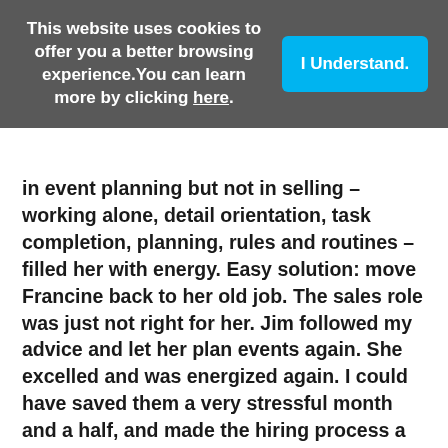This website uses cookies to offer you a better browsing experience.You can learn more by clicking here.
I Understand.
in event planning but not in selling – working alone, detail orientation, task completion, planning, rules and routines – filled her with energy. Easy solution: move Francine back to her old job. The sales role was just not right for her. Jim followed my advice and let her plan events again. She excelled and was energized again. I could have saved them a very stressful month and a half, and made the hiring process a lot more effective, if they'd let me do the assessment before Jim assigned Francine to the sales team!